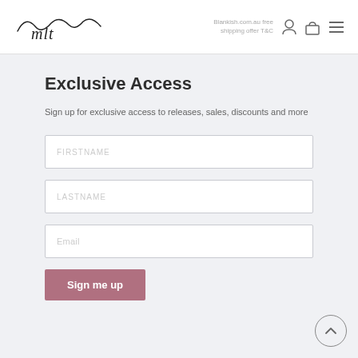mlt logo | Blankish.com.au free shipping offer T&C
Exclusive Access
Sign up for exclusive access to releases, sales, discounts and more
FIRSTNAME
LASTNAME
Email
Sign me up